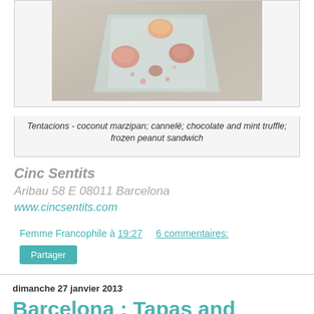[Figure (photo): Food photo showing a clear/glass plate with coconut marzipan, cannelé, chocolate and mint truffle, and frozen peanut sandwich desserts]
Tentacions - coconut marzipan; cannelé; chocolate and mint truffle; frozen peanut sandwich
Cinc Sentits
Aribau 58 E 08011 Barcelona
www.cincsentits.com
Femme Francophile à 19:27      6 commentaires:
Partager
dimanche 27 janvier 2013
Barcelona : Tapas and Casual Dining
I have been expanding my horizons beyond France with a four day visit to